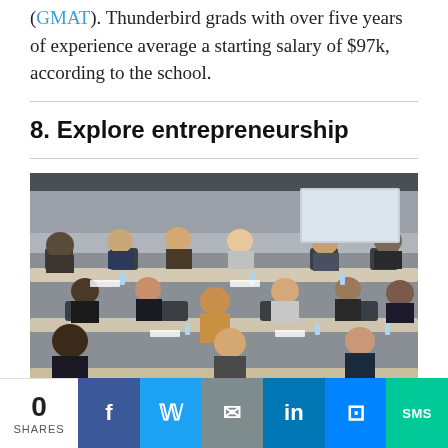(GMAT). Thunderbird grads with over five years of experience average a starting salary of $97k, according to the school.
8. Explore entrepreneurship
[Figure (photo): A classroom or lecture hall scene with approximately 20 students seated at tiered desks, attentively listening. Students appear to be MBA or business school students in professional attire. The room has modern gray finishes and the students are engaged in a presentation or lecture.]
0 SHARES | Facebook | Twitter | Email | LinkedIn | Messenger | SMS